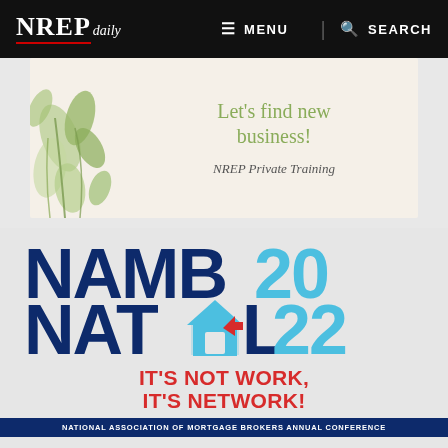NREP daily | MENU | SEARCH
[Figure (illustration): Banner advertisement with botanical leaf illustration on the left and text 'Let's find new business! NREP Private Training' on right]
[Figure (logo): NAMB National 2022 conference logo: NAMB 20 / NATL 22 with house icon, tagline IT'S NOT WORK, IT'S NETWORK!, NATIONAL ASSOCIATION OF MORTGAGE BROKERS ANNUAL CONFERENCE]